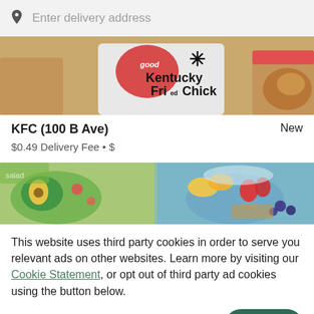Enter delivery address
[Figure (photo): KFC Kentucky Fried Chicken restaurant banner showing hands holding fried chicken and a KFC cup with 'good' text]
KFC (100 B Ave)
New
$0.49 Delivery Fee • $
[Figure (photo): Food delivery app banner showing fresh salads with avocado and fruit bowls with strawberries and blueberries]
This website uses third party cookies in order to serve you relevant ads on other websites. Learn more by visiting our Cookie Statement, or opt out of third party ad cookies using the button below.
OPT OUT
GOT IT